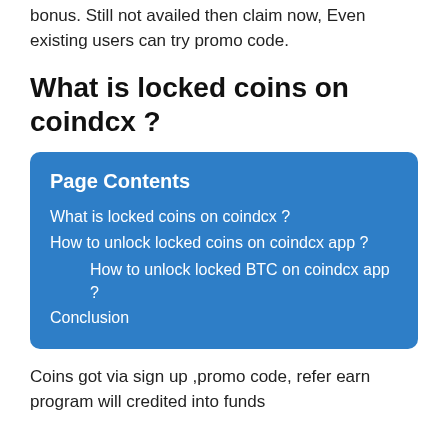bonus. Still not availed then claim now, Even existing users can try promo code.
What is locked coins on coindcx ?
[Figure (other): Table of contents box with blue background listing: Page Contents, What is locked coins on coindcx ?, How to unlock locked coins on coindcx app ?, How to unlock locked BTC on coindcx app ?, Conclusion]
Coins got via sign up ,promo code, refer earn program will credited into funds